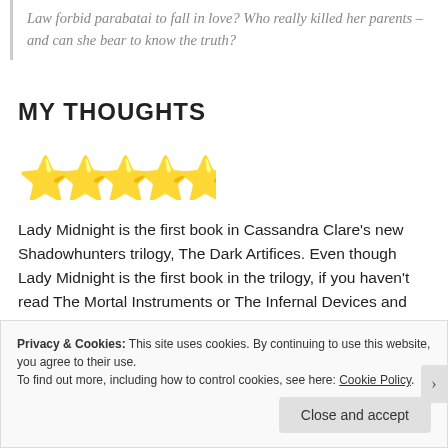Law forbid parabatai to fall in love? Who really killed her parents – and can she bear to know the truth?
MY THOUGHTS
[Figure (other): 5 gold star rating emoji icons]
Lady Midnight is the first book in Cassandra Clare's new Shadowhunters trilogy, The Dark Artifices. Even though Lady Midnight is the first book in the trilogy, if you haven't read The Mortal Instruments or The Infernal Devices and you plan to in the future, I'd recommend reading those first because Lady Midnight contains spoilers for those books
Privacy & Cookies: This site uses cookies. By continuing to use this website, you agree to their use. To find out more, including how to control cookies, see here: Cookie Policy
Close and accept